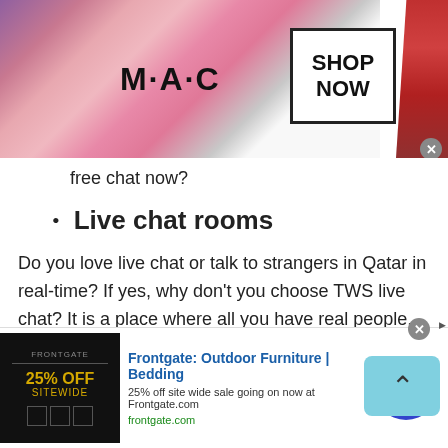[Figure (screenshot): MAC cosmetics banner ad with lipsticks on left, MAC logo in center, SHOP NOW box on right, red lipstick on far right, close button]
free chat now?
Live chat rooms
Do you love live chat or talk to strangers in Qatar in real-time? If yes, why don't you choose TWS live chat? It is a place where all you have real people, not bots. So, if you are wondering whether to rely on live chat or not then stop thinking like that. Talkwithstranger app enables users to avail free online chat with 100% authenticity and reliability.
[Figure (screenshot): Frontgate Outdoor Furniture advertisement banner at bottom: '25% off site wide sale going on now at Frontgate.com', frontgate.com URL, dark image with gold text on left, blue circle arrow button on right, close button and ad label]